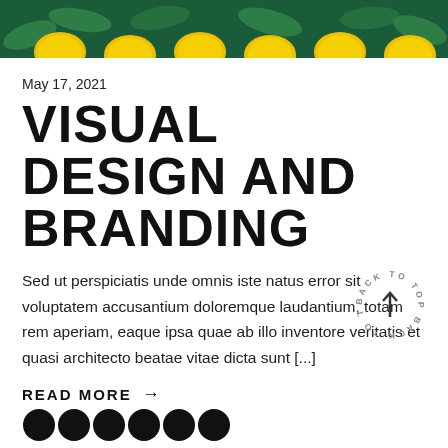[Figure (photo): Top of page showing lemons on a dark green background, cropped photo strip]
May 17, 2021
VISUAL DESIGN AND BRANDING
Sed ut perspiciatis unde omnis iste natus error sit voluptatem accusantium doloremque laudantium, totam rem aperiam, eaque ipsa quae ab illo inventore veritatis et quasi architecto beatae vitae dicta sunt [...]
READ MORE →
[Figure (illustration): Circular 'BACK TO TOP' text badge with upward arrow in center, rotated text around a circle]
[Figure (illustration): Row of social media icons (circular black icons) at the bottom of the page]